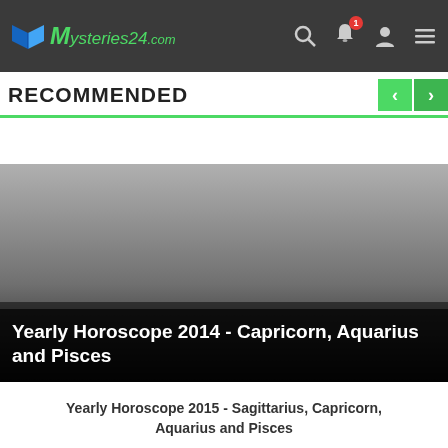Mysteries24.com — navigation bar with logo, search, notification, user, and menu icons
RECOMMENDED
[Figure (photo): A card image with a dark gradient from light grey at top to near-black at bottom, with a title overlay at the bottom reading 'Yearly Horoscope 2014 - Capricorn, Aquarius and Pisces']
Yearly Horoscope 2015 - Sagittarius, Capricorn, Aquarius and Pisces